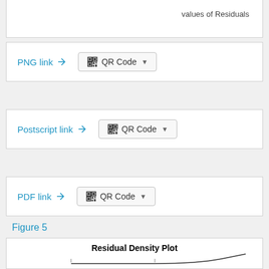values of Residuals
PNG link
[Figure (other): QR Code button with dropdown arrow]
Postscript link
[Figure (other): QR Code button with dropdown arrow]
PDF link
[Figure (other): QR Code button with dropdown arrow]
Figure 5
[Figure (continuous-plot): Residual Density Plot showing a bell-shaped curve peaking around 1.0 on y-axis]